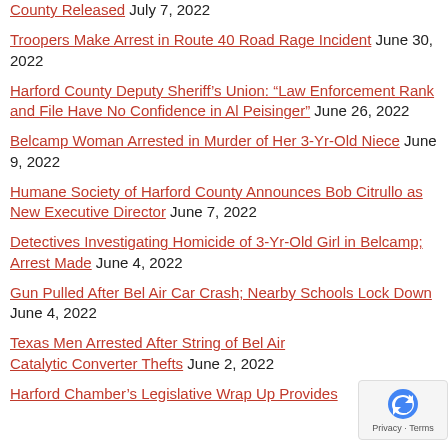County Released July 7, 2022
Troopers Make Arrest in Route 40 Road Rage Incident June 30, 2022
Harford County Deputy Sheriff’s Union: “Law Enforcement Rank and File Have No Confidence in Al Peisinger” June 26, 2022
Belcamp Woman Arrested in Murder of Her 3-Yr-Old Niece June 9, 2022
Humane Society of Harford County Announces Bob Citrullo as New Executive Director June 7, 2022
Detectives Investigating Homicide of 3-Yr-Old Girl in Belcamp; Arrest Made June 4, 2022
Gun Pulled After Bel Air Car Crash; Nearby Schools Lock Down June 4, 2022
Texas Men Arrested After String of Bel Air Catalytic Converter Thefts June 2, 2022
Harford Chamber’s Legislative Wrap Up Provides